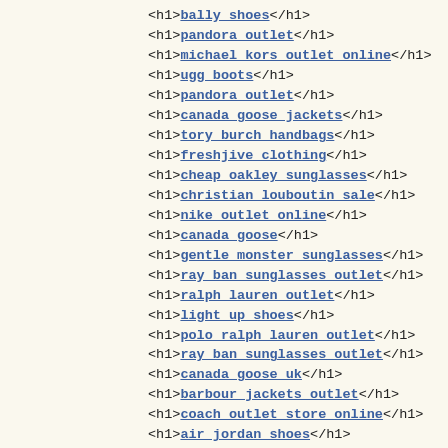<h1>bally shoes</h1>
<h1>pandora outlet</h1>
<h1>michael kors outlet online</h1>
<h1>ugg boots</h1>
<h1>pandora outlet</h1>
<h1>canada goose jackets</h1>
<h1>tory burch handbags</h1>
<h1>freshjive clothing</h1>
<h1>cheap oakley sunglasses</h1>
<h1>christian louboutin sale</h1>
<h1>nike outlet online</h1>
<h1>canada goose</h1>
<h1>gentle monster sunglasses</h1>
<h1>ray ban sunglasses outlet</h1>
<h1>ralph lauren outlet</h1>
<h1>light up shoes</h1>
<h1>polo ralph lauren outlet</h1>
<h1>ray ban sunglasses outlet</h1>
<h1>canada goose uk</h1>
<h1>barbour jackets outlet</h1>
<h1>coach outlet store online</h1>
<h1>air jordan shoes</h1>